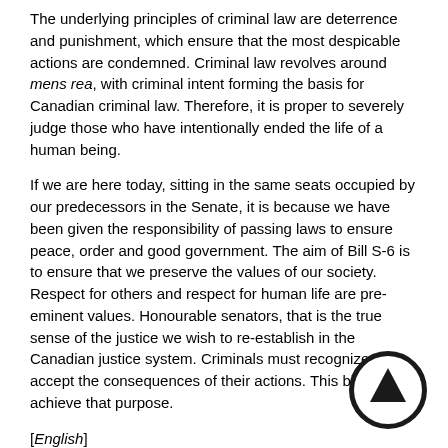The underlying principles of criminal law are deterrence and punishment, which ensure that the most despicable actions are condemned. Criminal law revolves around mens rea, with criminal intent forming the basis for Canadian criminal law. Therefore, it is proper to severely judge those who have intentionally ended the life of a human being.
If we are here today, sitting in the same seats occupied by our predecessors in the Senate, it is because we have been given the responsibility of passing laws to ensure peace, order and good government. The aim of Bill S-6 is to ensure that we preserve the values of our society. Respect for others and respect for human life are pre-eminent values. Honourable senators, that is the true sense of the justice we wish to re-establish in the Canadian justice system. Criminals must recognize and accept the consequences of their actions. This bill will achieve that purpose.
[English]
I will close by quoting a great philosopher of the 19th century, John Stuart Mill, who said:
That the only purpose for which power can be rightfully exercised over any member of a civilized community, against his will, is to prevent harm to